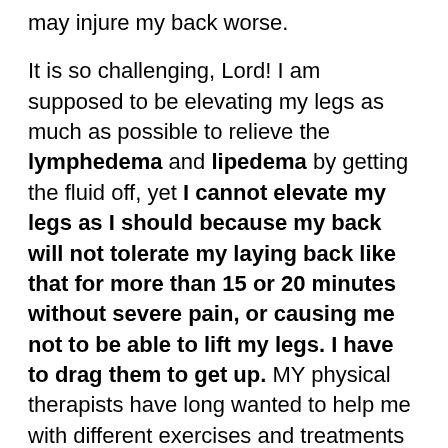may injure my back worse.
It is so challenging, Lord! I am supposed to be elevating my legs as much as possible to relieve the lymphedema and lipedema by getting the fluid off, yet I cannot elevate my legs as I should because my back will not tolerate my laying back like that for more than 15 or 20 minutes without severe pain, or causing me not to be able to lift my legs. I have to drag them to get up. MY physical therapists have long wanted to help me with different exercises and treatments that I am unable to do because of this. The weight from the fluid on my legs make it heavier and harder